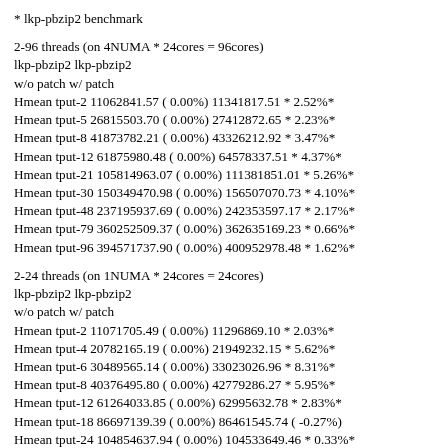* lkp-pbzip2 benchmark
2-96 threads (on 4NUMA * 24cores = 96cores)
lkp-pbzip2 lkp-pbzip2
w/o patch w/ patch
Hmean tput-2 11062841.57 ( 0.00%) 11341817.51 * 2.52%*
Hmean tput-5 26815503.70 ( 0.00%) 27412872.65 * 2.23%*
Hmean tput-8 41873782.21 ( 0.00%) 43326212.92 * 3.47%*
Hmean tput-12 61875980.48 ( 0.00%) 64578337.51 * 4.37%*
Hmean tput-21 105814963.07 ( 0.00%) 111381851.01 * 5.26%*
Hmean tput-30 150349470.98 ( 0.00%) 156507070.73 * 4.10%*
Hmean tput-48 237195937.69 ( 0.00%) 242353597.17 * 2.17%*
Hmean tput-79 360252509.37 ( 0.00%) 362635169.23 * 0.66%*
Hmean tput-96 394571737.90 ( 0.00%) 400952978.48 * 1.62%*
2-24 threads (on 1NUMA * 24cores = 24cores)
lkp-pbzip2 lkp-pbzip2
w/o patch w/ patch
Hmean tput-2 11071705.49 ( 0.00%) 11296869.10 * 2.03%*
Hmean tput-4 20782165.19 ( 0.00%) 21949232.15 * 5.62%*
Hmean tput-6 30489565.14 ( 0.00%) 33023026.96 * 8.31%*
Hmean tput-8 40376495.80 ( 0.00%) 42779286.27 * 5.95%*
Hmean tput-12 61264033.85 ( 0.00%) 62995632.78 * 2.83%*
Hmean tput-18 86697139.39 ( 0.00%) 86461545.74 ( -0.27%)
Hmean tput-24 104854637.94 ( 0.00%) 104533649.46 * 0.33%*